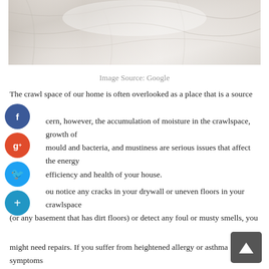[Figure (photo): Close-up photo of white crumpled fabric or bedding with soft light]
Image Source: Google
The crawl space of our home is often overlooked as a place that is a source of concern, however, the accumulation of moisture in the crawlspace, growth of mould and bacteria, and mustiness are serious issues that affect the energy efficiency and health of your house.
If you notice any cracks in your drywall or uneven floors in your crawlspace (or any basement that has dirt floors) or detect any foul or musty smells, you might need repairs. If you suffer from heightened allergy or asthma symptoms